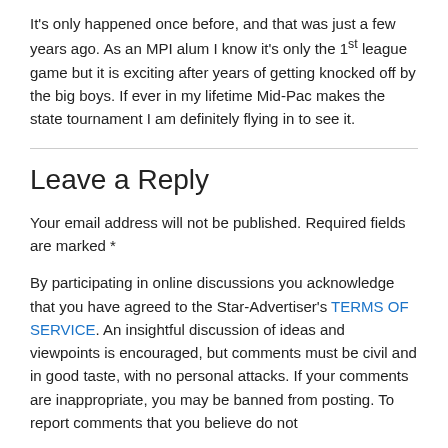It's only happened once before, and that was just a few years ago. As an MPI alum I know it's only the 1st league game but it is exciting after years of getting knocked off by the big boys. If ever in my lifetime Mid-Pac makes the state tournament I am definitely flying in to see it.
Leave a Reply
Your email address will not be published. Required fields are marked *
By participating in online discussions you acknowledge that you have agreed to the Star-Advertiser's TERMS OF SERVICE. An insightful discussion of ideas and viewpoints is encouraged, but comments must be civil and in good taste, with no personal attacks. If your comments are inappropriate, you may be banned from posting. To report comments that you believe do not